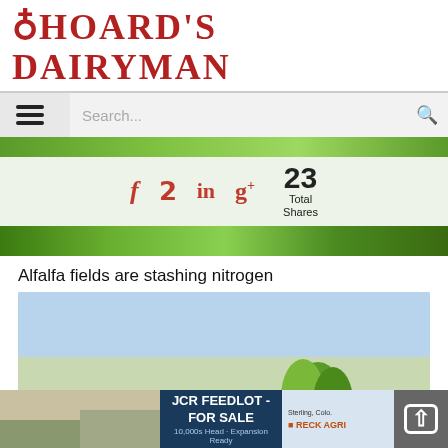Hoard's Dairyman
[Figure (screenshot): Website navigation bar with hamburger menu and search bar]
[Figure (infographic): Social media sharing bar with Facebook, Twitter, LinkedIn, Google+ icons and 23 Total Shares count]
[Figure (photo): Green alfalfa field banner photo]
Alfalfa fields are stashing nitrogen
[Figure (photo): Photo of alfalfa field with blue sky and plant in foreground]
[Figure (infographic): Advertisement banner: JCR Feedlot - For Sale, Sterling, Colorado, Reck Agri, 10,000s Head, Expansion Ready]